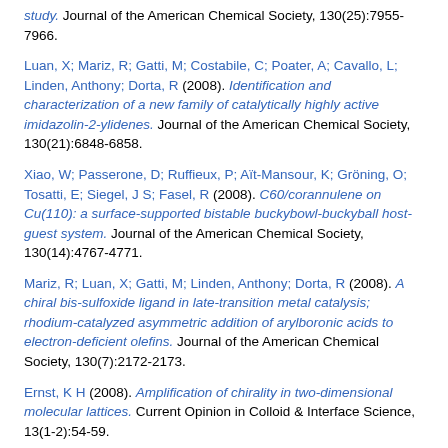study. Journal of the American Chemical Society, 130(25):7955-7966.
Luan, X; Mariz, R; Gatti, M; Costabile, C; Poater, A; Cavallo, L; Linden, Anthony; Dorta, R (2008). Identification and characterization of a new family of catalytically highly active imidazolin-2-ylidenes. Journal of the American Chemical Society, 130(21):6848-6858.
Xiao, W; Passerone, D; Ruffieux, P; Aït-Mansour, K; Gröning, O; Tosatti, E; Siegel, J S; Fasel, R (2008). C60/corannulene on Cu(110): a surface-supported bistable buckybowl-buckyball host-guest system. Journal of the American Chemical Society, 130(14):4767-4771.
Mariz, R; Luan, X; Gatti, M; Linden, Anthony; Dorta, R (2008). A chiral bis-sulfoxide ligand in late-transition metal catalysis; rhodium-catalyzed asymmetric addition of arylboronic acids to electron-deficient olefins. Journal of the American Chemical Society, 130(7):2172-2173.
Ernst, K H (2008). Amplification of chirality in two-dimensional molecular lattices. Current Opinion in Colloid & Interface Science, 13(1-2):54-59.